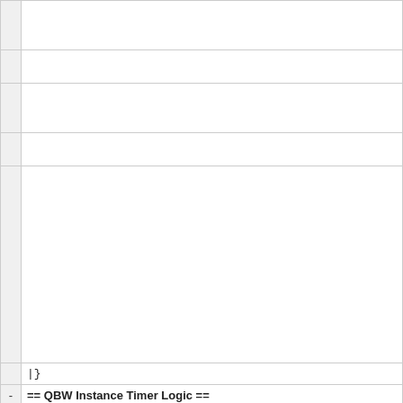|  |  |
|  |  |
|  |  |
|  |  |
|  |  |
|  | |} |
| - | == QBW Instance Timer Logic == |
|  | The Timer logic for each instance for actions to be run periodically is |
| - | * The timer of each instance is reset&re-armed every time the widget |
| - | * The timer of each instance is reset&re-armed every time it is chang |
| - | * If a widget is disabled, either by changing is "Status" in the Settings disabled |
| - | * If a widget is re-enabled, either by changing is "Status" in the Settin reset&re-armed |